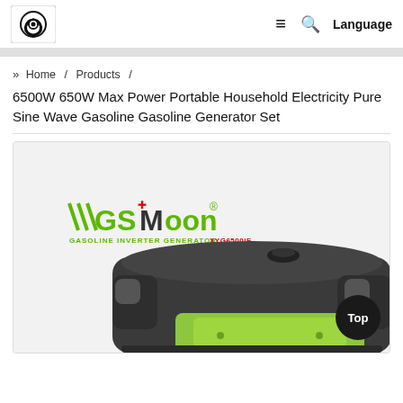GSMoon logo | ≡ Q Language
» Home / Products /
6500W 650W Max Power Portable Household Electricity Pure Sine Wave Gasoline Gasoline Generator Set
[Figure (photo): GSMoon gasoline inverter generator product photo showing a dark gray and lime green portable generator unit with the GSMoon brand logo and model XYG6500iE label visible on the body.]